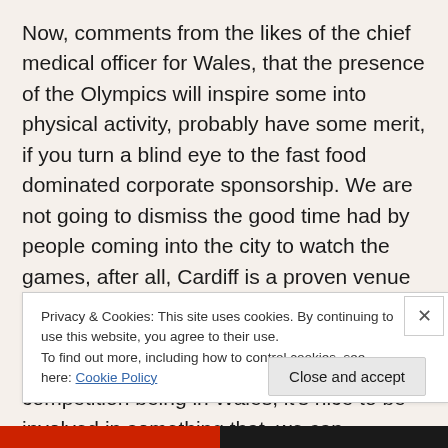Now, comments from the likes of the chief medical officer for Wales, that the presence of the Olympics will inspire some into physical activity, probably have some merit, if you turn a blind eye to the fast food dominated corporate sponsorship. We are not going to dismiss the good time had by people coming into the city to watch the games, after all, Cardiff is a proven venue for major international sporting events, it was always going to go well. Indeed, we don't really begrudge the football competition being in Wales, it's nice to be involved in something that, we can
Privacy & Cookies: This site uses cookies. By continuing to use this website, you agree to their use.
To find out more, including how to control cookies, see here: Cookie Policy
Close and accept